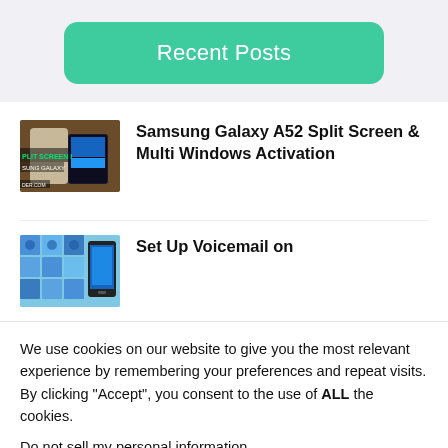Recent Posts
Samsung Galaxy A52 Split Screen & Multi Windows Activation
Set Up Voicemail on
We use cookies on our website to give you the most relevant experience by remembering your preferences and repeat visits. By clicking “Accept”, you consent to the use of ALL the cookies.
Do not sell my personal information.
Settings
Accept